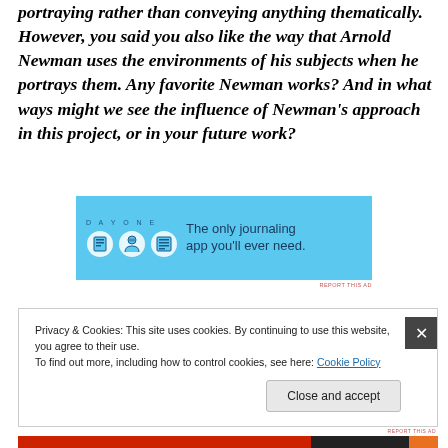portraying rather than conveying anything thematically. However, you said you also like the way that Arnold Newman uses the environments of his subjects when he portrays them. Any favorite Newman works? And in what ways might we see the influence of Newman's approach in this project, or in your future work?
[Figure (screenshot): Day One app advertisement banner. Light blue background with DAY ONE text in small spaced letters, three circular icons showing a journal, a person, and a notebook, and the text: The only journaling app you'll ever need.]
Privacy & Cookies: This site uses cookies. By continuing to use this website, you agree to their use. To find out more, including how to control cookies, see here: Cookie Policy
Close and accept